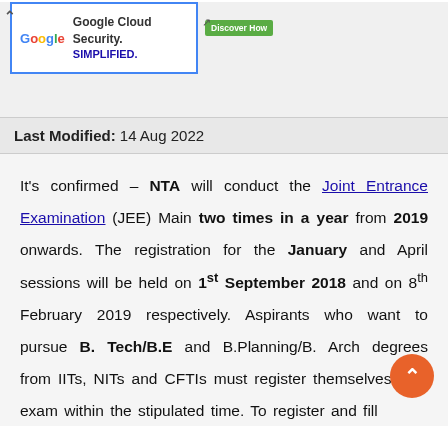[Figure (screenshot): Google Cloud Security advertisement banner with Google logo, text 'Google Cloud Security. SIMPLIFIED.' and a green 'Discover Now' button]
Last Modified: 14 Aug 2022
It's confirmed – NTA will conduct the Joint Entrance Examination (JEE) Main two times in a year from 2019 onwards. The registration for the January and April sessions will be held on 1st September 2018 and on 8th February 2019 respectively. Aspirants who want to pursue B. Tech/B.E and B.Planning/B. Arch degrees from IITs, NITs and CFTIs must register themselves for the exam within the stipulated time. To register and fill